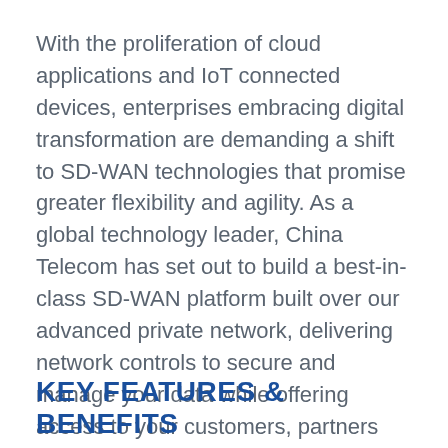With the proliferation of cloud applications and IoT connected devices, enterprises embracing digital transformation are demanding a shift to SD-WAN technologies that promise greater flexibility and agility. As a global technology leader, China Telecom has set out to build a best-in-class SD-WAN platform built over our advanced private network, delivering network controls to secure and manage your data while offering access to your customers, partners and employees in China, Asia-Pacific and beyond.
KEY FEATURES & BENEFITS